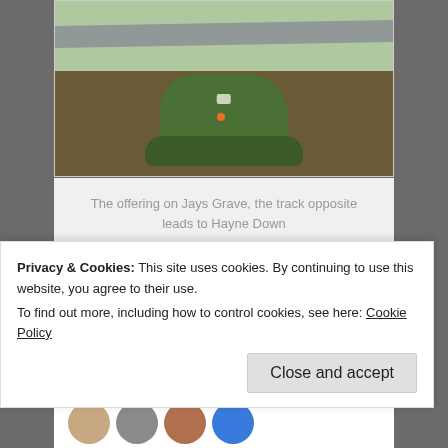[Figure (photo): A moss-covered stone or tree stump with offerings on top, beside a dirt road/track. Green vegetation visible in background.]
The offering on Jays Grave, the track opposite leads to Hayne Down
Advertisements
[Figure (logo): P2 logo — a black square icon with grid pattern followed by text 'P2']
Privacy & Cookies: This site uses cookies. By continuing to use this website, you agree to their use.
To find out more, including how to control cookies, see here: Cookie Policy
Close and accept